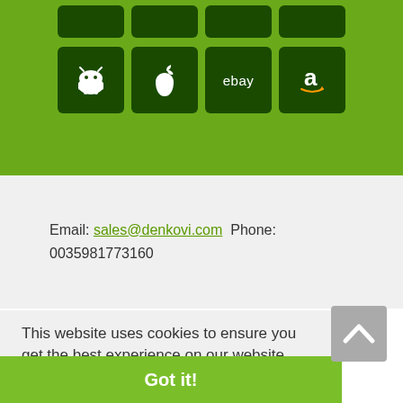[Figure (screenshot): Green section with two rows of dark green icon tiles. Top partial row shows 4 partial tiles. Second row shows 4 tiles with icons: Android robot, Apple logo, eBay wordmark, Amazon 'a' logo.]
Email: sales@denkovi.com  Phone: 0035981773160
This website uses cookies to ensure you get the best experience on our website.
Learn more
Got it!